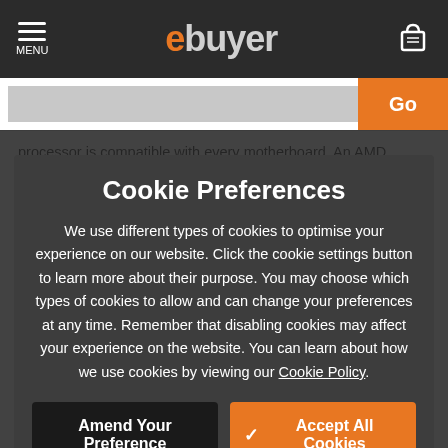MENU | ebuyer
processor is compatible with every motherboard. An AMD processor will not fit any Intel motherboards, nor will an Intel processor fit any AMD motherboards. You need to make sure your CPU and motherboard have the same compatible specifications for them to work together. And speaking of compatibility, be sure
Cookie Preferences
We use different types of cookies to optimise your experience on our website. Click the cookie settings button to learn more about their purpose. You may choose which types of cookies to allow and can change your preferences at any time. Remember that disabling cookies may affect your experience on the website. You can learn about how we use cookies by viewing our Cookie Policy.
Which are the best Intel
Amend Your Preference | ✓ Accept All Cookies